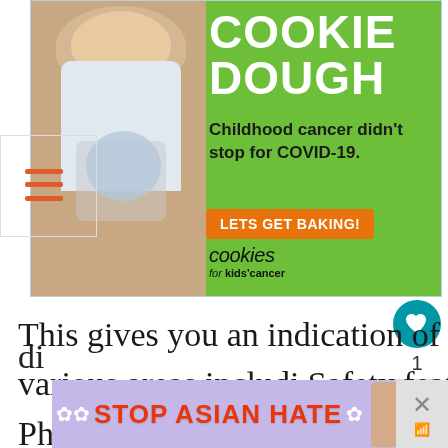[Figure (illustration): Advertisement for Cookies for Kids Cancer. Green circular background with a girl holding a jar of money. Large white bold text 'COOKIE DOUGH'. Text: 'Childhood cancer didn't stop for COVID-19.' Orange button 'LETS GET BAKING!'. Logo 'cookies for kids cancer'.]
[Figure (infographic): Heart/like button in teal circle with count '1' below, and share icon button below that.]
This gives you an indication of what's being done in various areas including Safety features, Cleaning, Physical di...
[Figure (infographic): What's Next panel: 'WHAT'S NEXT →' label, thumbnail image of a scenic location, text 'How was your trip to...']
[Figure (illustration): Bottom banner ad: purple/lavender background with white flower decorations, girl illustration, orange-red bold text 'STOP ASIAN HATE', close X button on right side.]